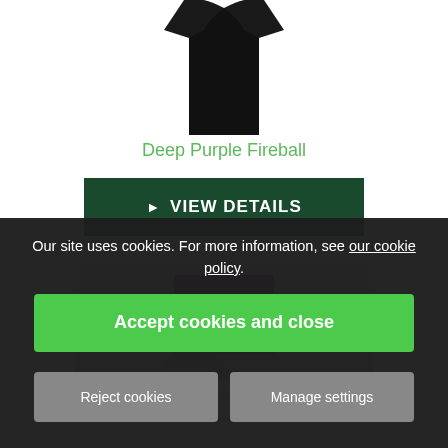[Figure (photo): Partial view of a black sleeveless shirt/tank top product image, cropped at top]
Deep Purple Fireball
▶ VIEW DETAILS
[Figure (photo): Purple box CD/album product image with text on it, partially visible]
Our site uses cookies. For more information, see our cookie policy.
Accept cookies and close
Reject cookies
Manage settings
Deep Purple - BBC Sessions 1968 - 1970